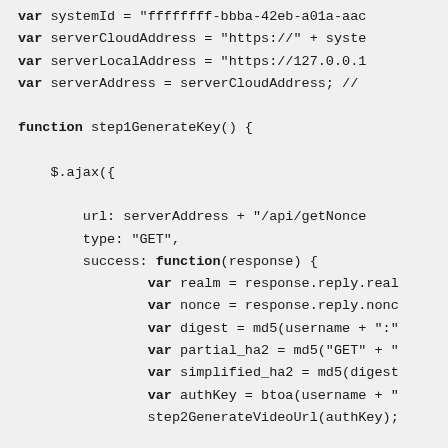var systemId = "ffffffff-bbba-42eb-a01a-aac...var serverCloudAddress = "https://" + syste
var serverLocalAddress = "https://127.0.0.1
var serverAddress = serverCloudAddress; //

function step1GenerateKey() {

    $.ajax({

        url: serverAddress + "/api/getNonce
        type: "GET",
        success: function(response) {
                var realm = response.reply.real
                var nonce = response.reply.nonc
                var digest = md5(username + ":"
                var partial_ha2 = md5("GET" + "
                var simplified_ha2 = md5(digest
                var authKey = btoa(username + "
                step2GenerateVideoUrl(authKey);